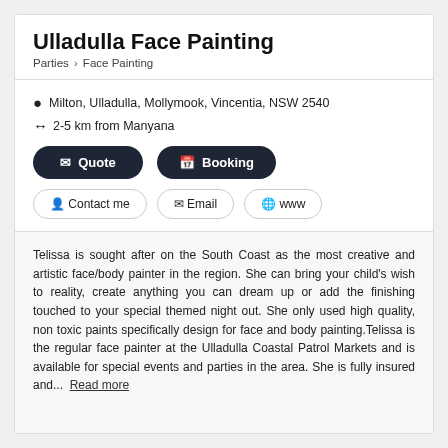Ulladulla Face Painting
Parties > Face Painting
Milton, Ulladulla, Mollymook, Vincentia, NSW 2540
2-5 km from Manyana
Quote
Booking
Contact me
Email
www
Telissa is sought after on the South Coast as the most creative and artistic face/body painter in the region. She can bring your child's wish to reality, create anything you can dream up or add the finishing touched to your special themed night out. She only used high quality, non toxic paints specifically design for face and body painting.Telissa is the regular face painter at the Ulladulla Coastal Patrol Markets and is available for special events and parties in the area. She is fully insured and...  Read more